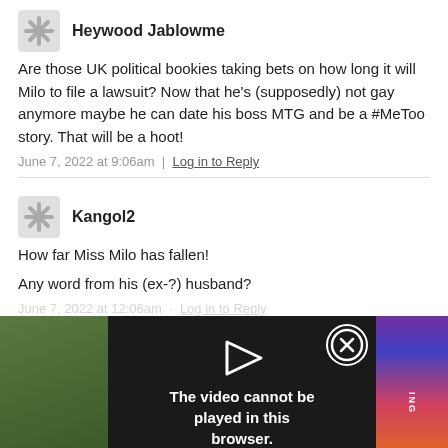Heywood Jablowme
Are those UK political bookies taking bets on how long it will Milo to file a lawsuit? Now that he’s (supposedly) not gay anymore maybe he can date his boss MTG and be a #MeToo story. That will be a hoot!
June 7, 2022 at 9:06am · Log in to Reply
Kangol2
How far Miss Milo has fallen!
Any word from his (ex-?) husband?
June 7, 2022 at 12:06am · Log in to Reply
[Figure (screenshot): Video player overlay showing error message: 'The video cannot be played in this browser. (Error Code: 242632)' with a play button icon and close X button. Background shows partially visible video thumbnail with colorful stripes and text 'QUE' and 'B'.]
I ... t find a ... that he has been “demoted to houseboy” but that Milo could still “afford to keep him in Givenchy and